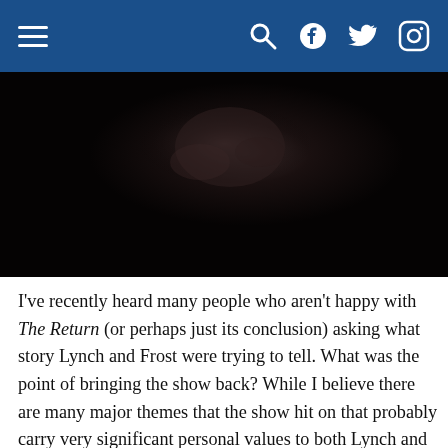Navigation header with hamburger menu, search, Facebook, Twitter, and Instagram icons
[Figure (photo): Dark, nearly black photograph with faint organic shapes visible, likely a scene from Twin Peaks: The Return]
I've recently heard many people who aren't happy with The Return (or perhaps just its conclusion) asking what story Lynch and Frost were trying to tell. What was the point of bringing the show back? While I believe there are many major themes that the show hit on that probably carry very significant personal values to both Lynch and Frost,  one of those themes and stories I believe is the story of their generation, the direction this country they've